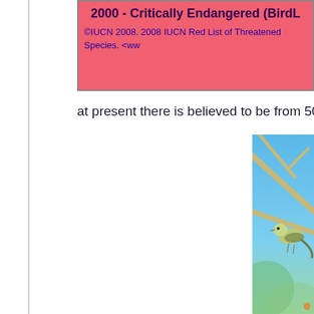2000 - Critically Endangered (BirdLife International 2000)
©IUCN 2008. 2008 IUCN Red List of Threatened Species. <www...
at present there is believed to be from 50...
[Figure (photo): A small greenish-yellow bird perched on bare branches against a blue and green blurred background]